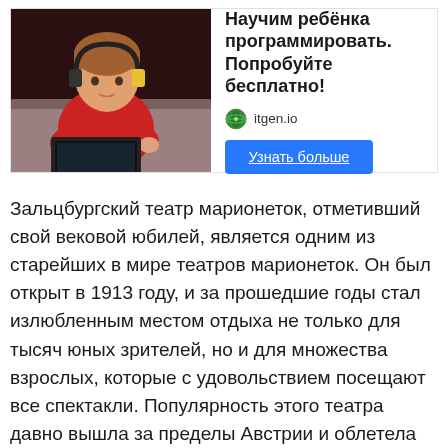[Figure (photo): Advertisement banner with a photo of a child wearing headphones using a laptop, next to text 'Научим ребёнка программировать. Попробуйте бесплатно!' with itgen.io logo and a blue 'Узнать больше' button.]
Зальцбургский театр марионеток, отметивший свой вековой юбилей, является одним из старейших в мире театров марионеток. Он был открыт в 1913 году, и за прошедшие годы стал излюбленным местом отдыха не только для тысяч юных зрителей, но и для множества взрослых, которые с удовольствием посещают все спектакли. Популярность этого театра давно вышла за пределы Австрии и облетела практически весь мир.